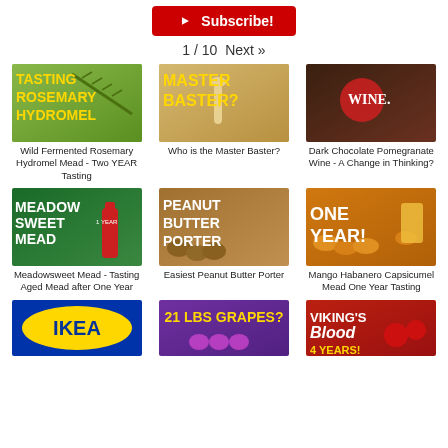[Figure (screenshot): YouTube Subscribe button (red with play icon)]
1 / 10   Next »
[Figure (screenshot): Thumbnail: Tasting Rosemary Hydromel]
Wild Fermented Rosemary Hydromel Mead - Two YEAR Tasting
[Figure (screenshot): Thumbnail: Master Baster?]
Who is the Master Baster?
[Figure (screenshot): Thumbnail: Wine. (Dark Chocolate Pomegranate)]
Dark Chocolate Pomegranate Wine - A Change in Thinking?
[Figure (screenshot): Thumbnail: Meadow Sweet Mead]
Meadowsweet Mead - Tasting Aged Mead after One Year
[Figure (screenshot): Thumbnail: Peanut Butter Porter]
Easiest Peanut Butter Porter
[Figure (screenshot): Thumbnail: One Year! Mango Habanero]
Mango Habanero Capsicumel Mead One Year Tasting
[Figure (screenshot): Thumbnail: IKEA]
[Figure (screenshot): Thumbnail: 21 LBS GRAPES?]
[Figure (screenshot): Thumbnail: Viking's Blood 4 Years!]